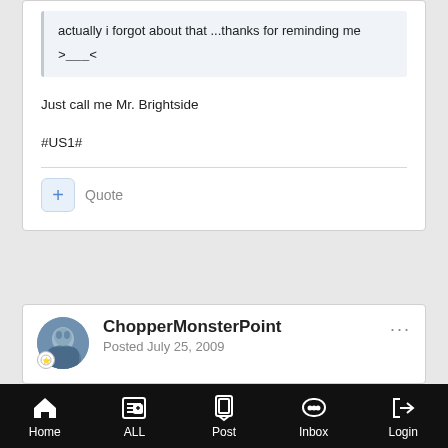actually i forgot about that ...thanks for reminding me
>___<
Just call me Mr. Brightside
#US1#
Quote
ChopperMonsterPoint
Posted July 25, 2009
Home  ALL  Post  Inbox  Login